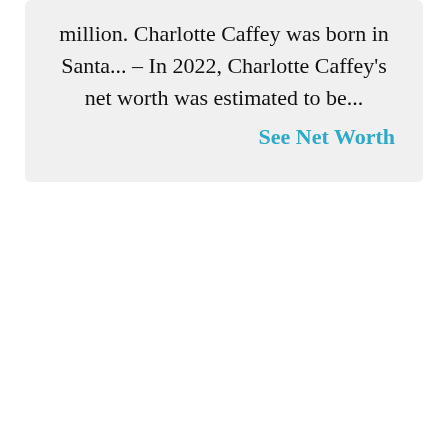million. Charlotte Caffey was born in Santa... – In 2022, Charlotte Caffey's net worth was estimated to be...
See Net Worth